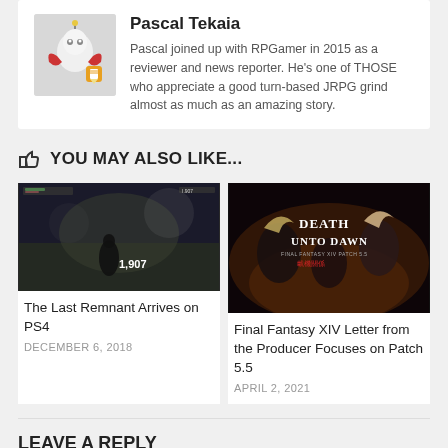[Figure (photo): Author avatar: cartoon robot character (Mog/Cactuar-style mascot) with wings and a pencil]
Pascal Tekaia
Pascal joined up with RPGamer in 2015 as a reviewer and news reporter. He's one of THOSE who appreciate a good turn-based JRPG grind almost as much as an amazing story.
YOU MAY ALSO LIKE...
[Figure (photo): Game screenshot: dark fantasy scene with character in combat, showing 1,807 damage number]
The Last Remnant Arrives on PS4
DECEMBER 6, 2018
[Figure (photo): Final Fantasy XIV: Death Unto Dawn promotional image with anime characters]
Final Fantasy XIV Letter from the Producer Focuses on Patch 5.5
APRIL 2, 2021
LEAVE A REPLY
You must be logged in to post a comment.